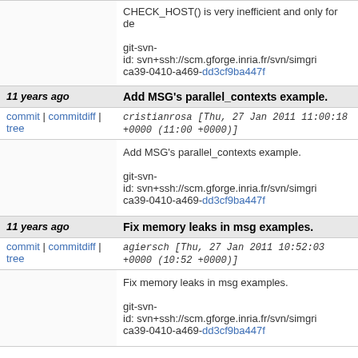CHECK_HOST() is very inefficient and only for de
git-svn-id: svn+ssh://scm.gforge.inria.fr/svn/simgri
ca39-0410-a469-dd3cf9ba447f
11 years ago
Add MSG's parallel_contexts example.
commit | commitdiff | tree    cristianrosa [Thu, 27 Jan 2011 11:00:18 +0000 (11:00 +0000)]
Add MSG's parallel_contexts example.

git-svn-id: svn+ssh://scm.gforge.inria.fr/svn/simgri
ca39-0410-a469-dd3cf9ba447f
11 years ago
Fix memory leaks in msg examples.
commit | commitdiff | tree    agiersch [Thu, 27 Jan 2011 10:52:03 +0000 (10:52 +0000)]
Fix memory leaks in msg examples.

git-svn-id: svn+ssh://scm.gforge.inria.fr/svn/simgri
ca39-0410-a469-dd3cf9ba447f